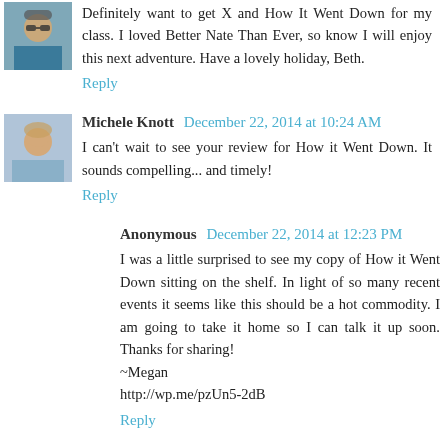Definitely want to get X and How It Went Down for my class. I loved Better Nate Than Ever, so know I will enjoy this next adventure. Have a lovely holiday, Beth.
Reply
Michele Knott  December 22, 2014 at 10:24 AM
I can't wait to see your review for How it Went Down. It sounds compelling... and timely!
Reply
Anonymous  December 22, 2014 at 12:23 PM
I was a little surprised to see my copy of How it Went Down sitting on the shelf. In light of so many recent events it seems like this should be a hot commodity. I am going to take it home so I can talk it up soon. Thanks for sharing! ~Megan
http://wp.me/pzUn5-2dB
Reply